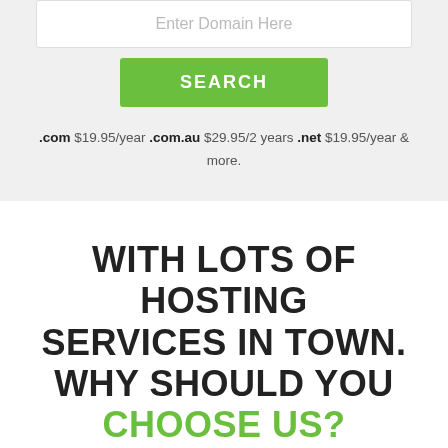Enter Domain Here
SEARCH
.com $19.95/year .com.au $29.95/2 years .net $19.95/year & more.
WITH LOTS OF HOSTING SERVICES IN TOWN. WHY SHOULD YOU CHOOSE US?
[Figure (illustration): Rocket ship with speedometer icon, outline style illustration]